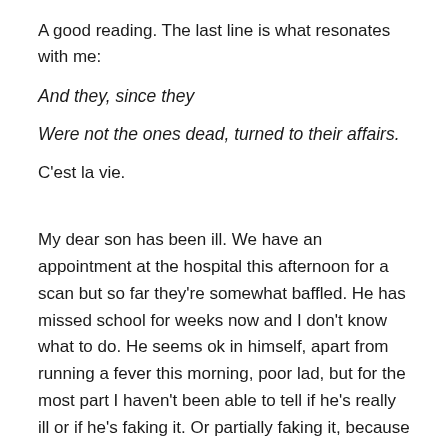A good reading. The last line is what resonates with me:
And they, since they
Were not the ones dead, turned to their affairs.
C'est la vie.
My dear son has been ill. We have an appointment at the hospital this afternoon for a scan but so far they're somewhat baffled. He has missed school for weeks now and I don't know what to do. He seems ok in himself, apart from running a fever this morning, poor lad, but for the most part I haven't been able to tell if he's really ill or if he's faking it. Or partially faking it, because of his anxiety, which he says no one understands – and perhaps we don't, and that worries me. OR I'll add his anxiety is a symptom of the illness.